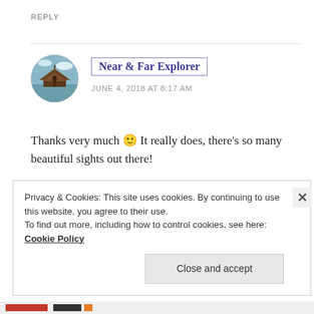REPLY
[Figure (photo): Circular avatar photo showing a pagoda/gazebo structure by water]
Near & Far Explorer
JUNE 4, 2018 AT 8:17 AM
Thanks very much 🙂 It really does, there's so many beautiful sights out there!
★ Liked by 1 person
Privacy & Cookies: This site uses cookies. By continuing to use this website, you agree to their use.
To find out more, including how to control cookies, see here: Cookie Policy
Close and accept